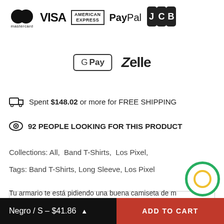[Figure (logo): Payment method logos: Mastercard, VISA, American Express, PayPal, JCB, Google Pay, Zelle]
Spent $148.02 or more for FREE SHIPPING
92 PEOPLE LOOKING FOR THIS PRODUCT
Collections: All, Band T-Shirts, Los Pixel,
Tags: Band T-Shirts, Long Sleeve, Los Pixel
PRODUCT DETAILS
Tu armario te está pidiendo una buena camiseta de m…
Negro / S - $41.86 ^ | ADD TO CART